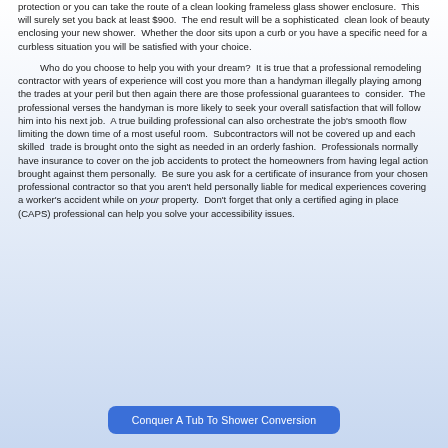protection or you can take the route of a clean looking frameless glass shower enclosure.  This will surely set you back at least $900.  The end result will be a sophisticated  clean look of beauty enclosing your new shower.  Whether the door sits upon a curb or you have a specific need for a curbless situation you will be satisfied with your choice.
Who do you choose to help you with your dream?  It is true that a professional remodeling contractor with years of experience will cost you more than a handyman illegally playing among the trades at your peril but then again there are those professional guarantees to  consider.  The professional verses the handyman is more likely to seek your overall satisfaction that will follow him into his next job.  A true building professional can also orchestrate the job's smooth flow limiting the down time of a most useful room.  Subcontractors will not be covered up and each skilled  trade is brought onto the sight as needed in an orderly fashion.  Professionals normally have insurance to cover on the job accidents to protect the homeowners from having legal action brought against them personally.  Be sure you ask for a certificate of insurance from your chosen professional contractor so that you aren't held personally liable for medical experiences covering a worker's accident while on your property.  Don't forget that only a certified aging in place (CAPS) professional can help you solve your accessibility issues.
Conquer A Tub To Shower Conversion